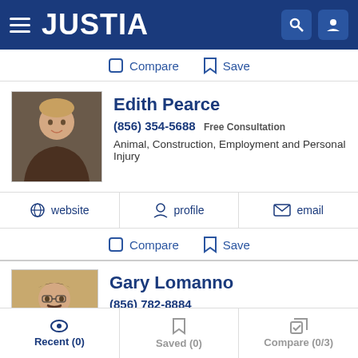[Figure (screenshot): Justia website header with hamburger menu, JUSTIA logo, search and profile icons on blue background]
Compare  Save
Edith Pearce
(856) 354-5688  Free Consultation
Animal, Construction, Employment and Personal Injury
website  profile  email
Compare  Save
Gary Lomanno
(856) 782-8884
Animal, Criminal, DWI and Juvenile
Recent (0)  Saved (0)  Compare (0/3)